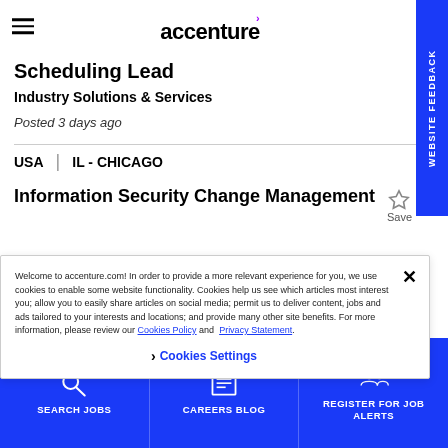accenture
Scheduling Lead
Industry Solutions & Services
Posted 3 days ago
USA   |   IL - CHICAGO
Save
Information Security Change Management
Welcome to accenture.com! In order to provide a more relevant experience for you, we use cookies to enable some website functionality. Cookies help us see which articles most interest you; allow you to easily share articles on social media; permit us to deliver content, jobs and ads tailored to your interests and locations; and provide many other site benefits. For more information, please review our Cookies Policy and Privacy Statement.
Cookies Settings
SEARCH JOBS   CAREERS BLOG   REGISTER FOR JOB ALERTS